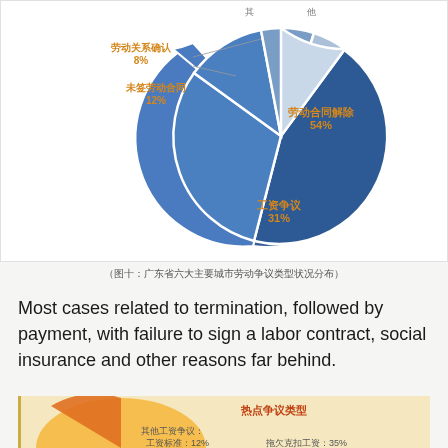[Figure (pie-chart): 广东省六大主要城市劳动争议类型状况分布]
（图十：广东省六大主要城市劳动争议类型状况分布）
Most cases related to termination, followed by payment, with failure to sign a labor contract, social insurance and other reasons far behind.
[Figure (pie-chart): Partially visible pie/donut chart showing hot dispute types including 其他工资争议, 工资标准, 拖欠克扣工资]